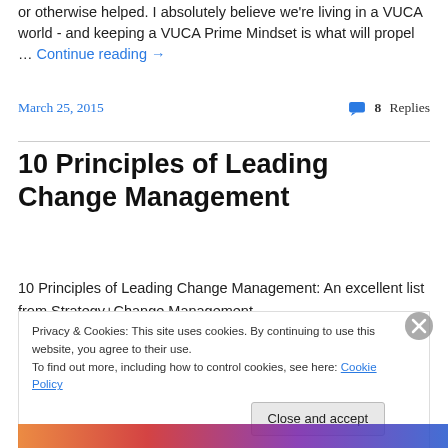or otherwise helped. I absolutely believe we're living in a VUCA world - and keeping a VUCA Prime Mindset is what will propel … Continue reading →
March 25, 2015
8 Replies
10 Principles of Leading Change Management
10 Principles of Leading Change Management: An excellent list from Strategy+Change Management. …
Privacy & Cookies: This site uses cookies. By continuing to use this website, you agree to their use.
To find out more, including how to control cookies, see here: Cookie Policy
[Close and accept]